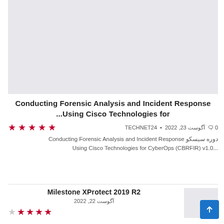[Figure (photo): Gray placeholder image at top of page]
Conducting Forensic Analysis and Incident Response ...Using Cisco Technologies for
★★★★★  TECHNET24 • آگوست 23, 2022  🗨 0
دوره سیسکو Conducting Forensic Analysis and Incident Response Using Cisco Technologies for CyberOps (CBRFIR) v1.0...
Milestone XProtect 2019 R2
آگوست 22, 2022
[Figure (photo): Gray placeholder thumbnail for Milestone XProtect 2019 R2]